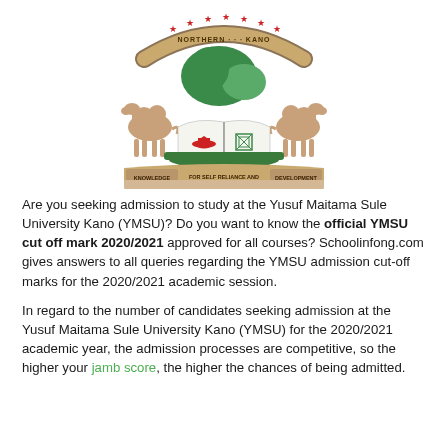[Figure (logo): Yusuf Maitama Sule University Kano (YMSU) official crest/logo featuring two camels flanking an open book with a graduation cap, green map of Kano state, red stars, and a banner reading 'KNOWLEDGE FOR SELF RELIANCE AND DEVELOPMENT']
Are you seeking admission to study at the Yusuf Maitama Sule University Kano (YMSU)? Do you want to know the official YMSU cut off mark 2020/2021 approved for all courses? Schoolinfong.com gives answers to all queries regarding the YMSU admission cut-off marks for the 2020/2021 academic session.
In regard to the number of candidates seeking admission at the Yusuf Maitama Sule University Kano (YMSU) for the 2020/2021 academic year, the admission processes are competitive, so the higher your jamb score, the higher the chances of being admitted.